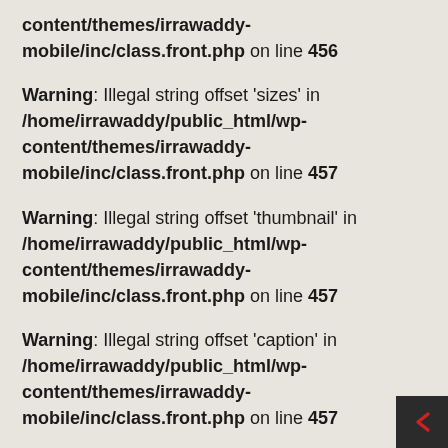content/themes/irrawaddy-mobile/inc/class.front.php on line 456
Warning: Illegal string offset 'sizes' in /home/irrawaddy/public_html/wp-content/themes/irrawaddy-mobile/inc/class.front.php on line 457
Warning: Illegal string offset 'thumbnail' in /home/irrawaddy/public_html/wp-content/themes/irrawaddy-mobile/inc/class.front.php on line 457
Warning: Illegal string offset 'caption' in /home/irrawaddy/public_html/wp-content/themes/irrawaddy-mobile/inc/class.front.php on line 457
Warning: Illegal string offset [caption] in